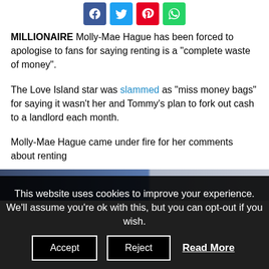[Figure (other): Social share buttons: Facebook (blue), Twitter (light blue), Pinterest (red), WhatsApp (green)]
MILLIONAIRE Molly-Mae Hague has been forced to apologise to fans for saying renting is a “complete waste of money”.
The Love Island star was slammed as “miss money bags” for saying it wasn’t her and Tommy’s plan to fork out cash to a landlord each month.
Molly-Mae Hague came under fire for her comments about renting
[Figure (photo): Partial photo of Molly-Mae Hague, partially obscured by cookie consent banner]
This website uses cookies to improve your experience. We’ll assume you’re ok with this, but you can opt-out if you wish.